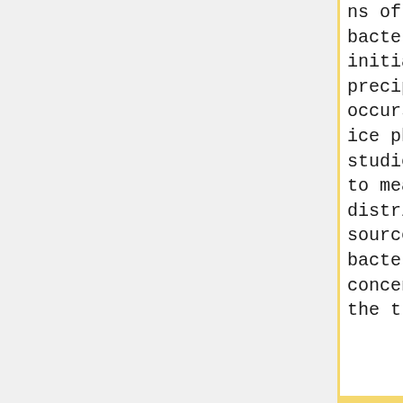ns of INactive bacterial cells the initiation of precipitation occurs through the ice phase. More studies are needed to measure distribution, sources, and bacterial cell concentration in the troposphere,